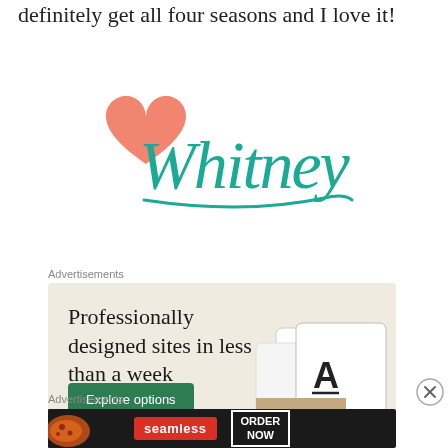definitely get all four seasons and I love it!
[Figure (logo): Love Whitney signature logo with a pink/coral heart and teal cursive text reading 'Whitney']
Advertisements
[Figure (screenshot): Advertisement for website builder: 'Professionally designed sites in less than a week' with an 'Explore options' button on a beige background, showing website mockup images on the right]
Advertisements
[Figure (infographic): Seamless food delivery advertisement showing pizza on dark background with red 'seamless' badge and 'ORDER NOW' in white bordered box]